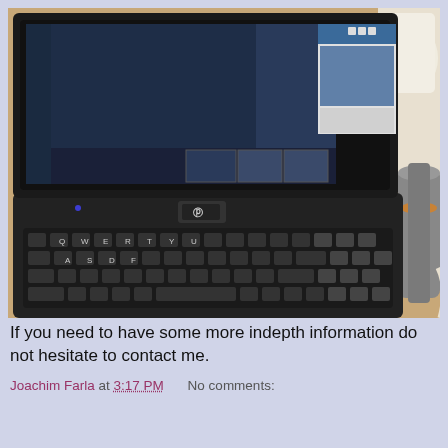[Figure (photo): A photo of an HP laptop computer open on a desk, showing a dark screen with some windows/thumbnails visible. The keyboard is visible in the foreground. A cup and some cables are visible in the background on a wooden surface.]
If you need to have some more indepth information do not hesitate to contact me.
Joachim Farla at 3:17 PM     No comments: